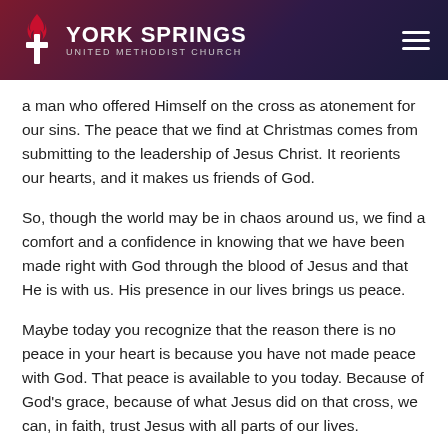York Springs United Methodist Church
a man who offered Himself on the cross as atonement for our sins. The peace that we find at Christmas comes from submitting to the leadership of Jesus Christ. It reorients our hearts, and it makes us friends of God.
So, though the world may be in chaos around us, we find a comfort and a confidence in knowing that we have been made right with God through the blood of Jesus and that He is with us. His presence in our lives brings us peace.
Maybe today you recognize that the reason there is no peace in your heart is because you have not made peace with God. That peace is available to you today. Because of God's grace, because of what Jesus did on that cross, we can, in faith, trust Jesus with all parts of our lives.